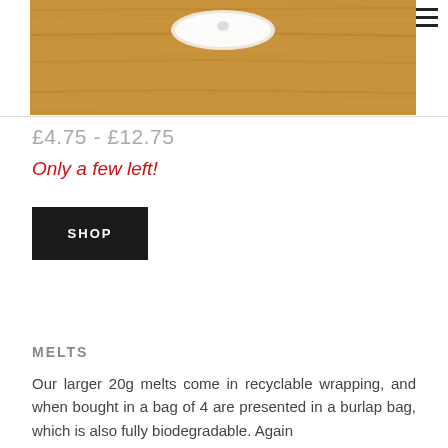[Figure (photo): Product photo showing a circular item on a wooden surface background, cropped at top]
£4.75 - £12.75
Only a few left!
SHOP
MELTS
Our larger 20g melts come in recyclable wrapping, and when bought in a bag of 4 are presented in a burlap bag, which is also fully biodegradable. Again with no dye or fixative. Our 100g...